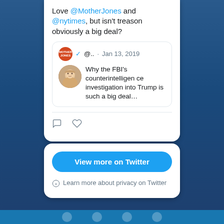[Figure (screenshot): A Twitter embedded tweet card on a dark blue city skyline background. The tweet reads: 'Love @MotherJones and @nytimes, but isn't treason obviously a big deal?' with a quoted tweet from @.. dated Jan 13, 2019 showing a photo of Trump and text 'Why the FBI's counterintelligence investigation into Trump is such a big deal...' Below are reply and like icons, a 'View more on Twitter' button, and a privacy notice.]